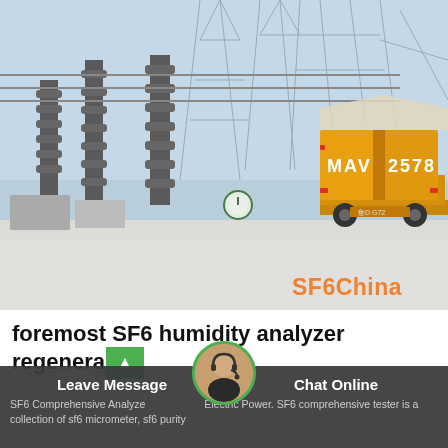[Figure (photo): Outdoor electrical substation in winter/snow with high-voltage transmission towers and insulators. A yellow service truck/vehicle with markings 'MAV 2578' is parked in the substation yard. SF6China watermark visible in lower right.]
foremost SF6 humidity analyzer regeneration
SF6 Comprehensive Analyzer … Electric Power. SF6 comprehensive tester is a collection of sf6 micrometer, sf6 purity